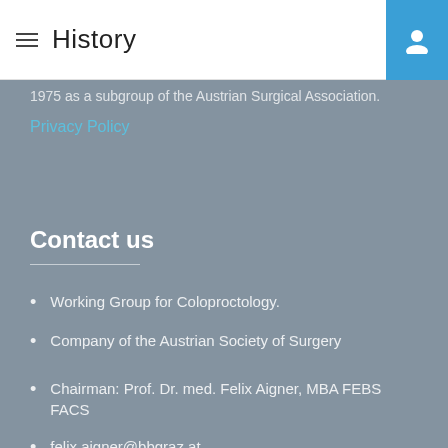History
1975 as a subgroup of the Austrian Surgical Association.
Privacy Policy
Contact us
Working Group for Coloproctology.
Company of the Austrian Society of Surgery
Chairman: Prof. Dr. med. Felix Aigner, MBA FEBS FACS
felix.aigner@bbgraz.at